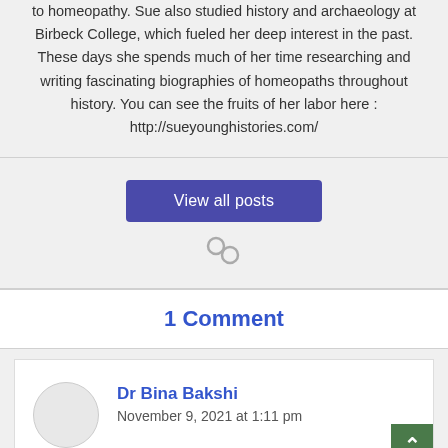to homeopathy. Sue also studied history and archaeology at Birbeck College, which fueled her deep interest in the past. These days she spends much of her time researching and writing fascinating biographies of homeopaths throughout history. You can see the fruits of her labor here : http://sueyounghistories.com/
View all posts
1 Comment
Dr Bina Bakshi
November 9, 2021 at 1:11 pm